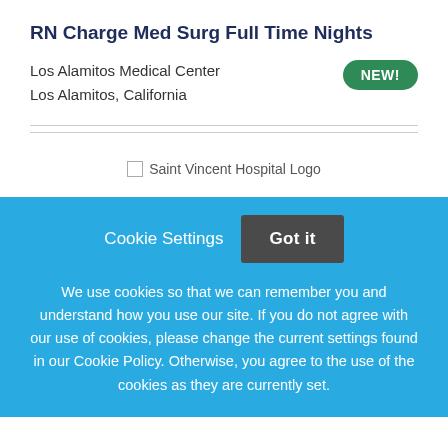RN Charge Med Surg Full Time Nights
Los Alamitos Medical Center
Los Alamitos, California
[Figure (other): NEW! badge — green rounded pill button]
[Figure (logo): Saint Vincent Hospital Logo (broken image placeholder)]
Cookie Settings
Got it
We use cookies so that we can remember you and understand how you use our site. If you do not agree with our use of cookies, please change the current settings found in our Cookie Policy. Otherwise, you agree to the use of the cookies as they are currently set.